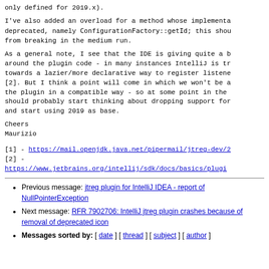only defined for 2019.x).
I've also added an overload for a method whose implementa deprecated, namely ConfigurationFactory::getId; this shou from breaking in the medium run.
As a general note, I see that the IDE is giving quite a b around the plugin code - in many instances IntelliJ is tr towards a lazier/more declarative way to register listene [2]. But I think a point will come in which we won't be a the plugin in a compatible way - so at some point in the should probably start thinking about dropping support for and start using 2019 as base.
Cheers
Maurizio
[1] - https://mail.openjdk.java.net/pipermail/jtreg-dev/2
[2] -
https://www.jetbrains.org/intellij/sdk/docs/basics/plugi
Previous message: jtreg plugin for IntelliJ IDEA - report of NullPointerException
Next message: RFR 7902706: IntelliJ jtreg plugin crashes because of removal of deprecated icon
Messages sorted by: [ date ] [ thread ] [ subject ] [ author ]